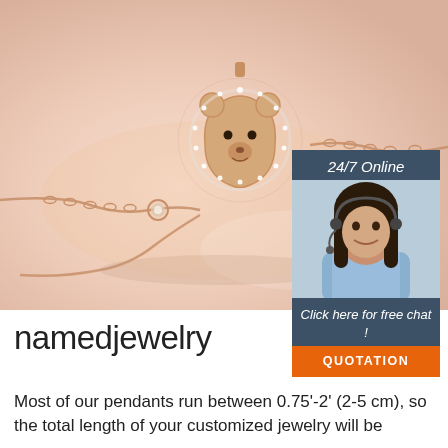[Figure (photo): Close-up photo of a rose gold bracelet with a bear-shaped diamond pendant on a peach/rose background]
[Figure (photo): 24/7 Online chat widget with dark blue background showing a customer service representative (woman with headset), text 'Click here for free chat!' and orange QUOTATION button]
namedjewelry
[Figure (logo): Orange TOP logo with dots above triangular shape]
Most of our pendants run between 0.75'-2' (2-5 cm), so the total length of your customized jewelry will be